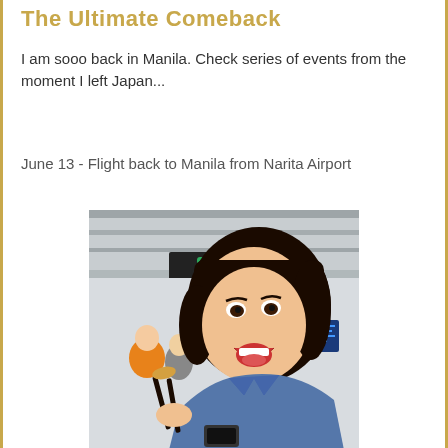The Ultimate Comeback
I am sooo back in Manila. Check series of events from the moment I left Japan...
June 13 - Flight back to Manila from Narita Airport
[Figure (photo): A young Asian woman at an airport (Narita Airport), making an excited expression with mouth open wide, holding chopsticks with food. Airport signage and other travelers visible in background.]